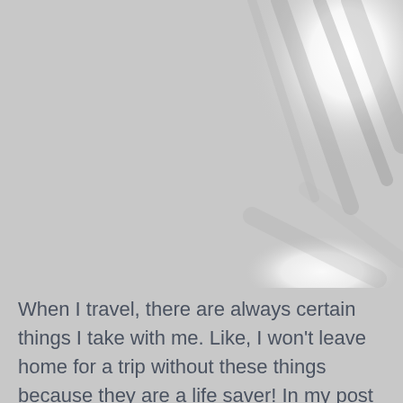[Figure (photo): A blurred/abstract photo with a grey background featuring soft white light streaks and bokeh effects suggesting plant shadows or window light patterns. The upper right has bright white light blobs with diagonal streak patterns. The lower right has a softer white light blob area.]
When I travel, there are always certain things I take with me. Like, I won't leave home for a trip without these things because they are a life saver! In my post about long hauls I